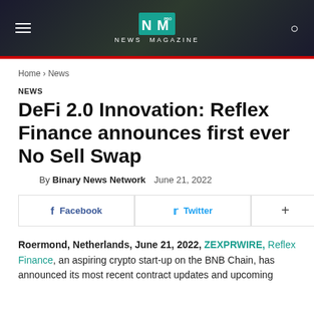NEWS MAGAZINE
Home › News
NEWS
DeFi 2.0 Innovation: Reflex Finance announces first ever No Sell Swap
By Binary News Network   June 21, 2022
Facebook   Twitter   +
Roermond, Netherlands, June 21, 2022, ZEXPRWIRE, Reflex Finance, an aspiring crypto start-up on the BNB Chain, has announced its most recent contract updates and upcoming